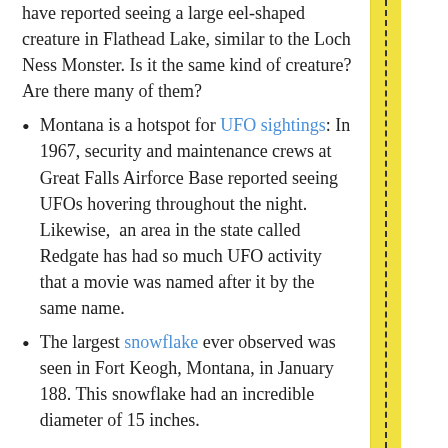have reported seeing a large eel-shaped creature in Flathead Lake, similar to the Loch Ness Monster. Is it the same kind of creature? Are there many of them?
Montana is a hotspot for UFO sightings: In 1967, security and maintenance crews at Great Falls Airforce Base reported seeing UFOs hovering throughout the night. Likewise, an area in the state called Redgate has had so much UFO activity that a movie was named after it by the same name.
The largest snowflake ever observed was seen in Fort Keogh, Montana, in January 188. This snowflake had an incredible diameter of 15 inches.
Have an interesting fact or story about Montana that you'd like to share? Email it to us at: